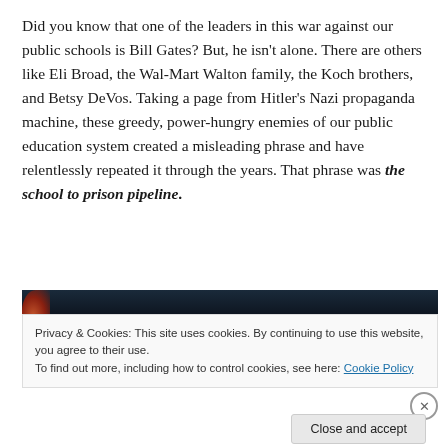Did you know that one of the leaders in this war against our public schools is Bill Gates? But, he isn't alone. There are others like Eli Broad, the Wal-Mart Walton family, the Koch brothers, and Betsy DeVos. Taking a page from Hitler's Nazi propaganda machine, these greedy, power-hungry enemies of our public education system created a misleading phrase and have relentlessly repeated it through the years. That phrase was the school to prison pipeline.
[Figure (photo): Dark nighttime photo, partially visible, showing a dark sky background with a partial orange/red circular shape on the left side.]
Privacy & Cookies: This site uses cookies. By continuing to use this website, you agree to their use.
To find out more, including how to control cookies, see here: Cookie Policy
Close and accept